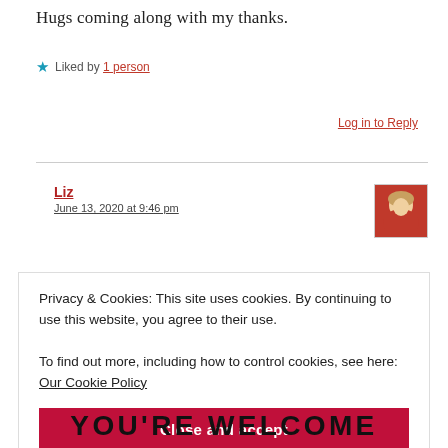Hugs coming along with my thanks.
★ Liked by 1 person
Log in to Reply
Liz
June 13, 2020 at 9:46 pm
[Figure (photo): Avatar photo of Liz, a person in a red top]
Privacy & Cookies: This site uses cookies. By continuing to use this website, you agree to their use.
To find out more, including how to control cookies, see here: Our Cookie Policy
Close and accept
YOU'RE WELCOME